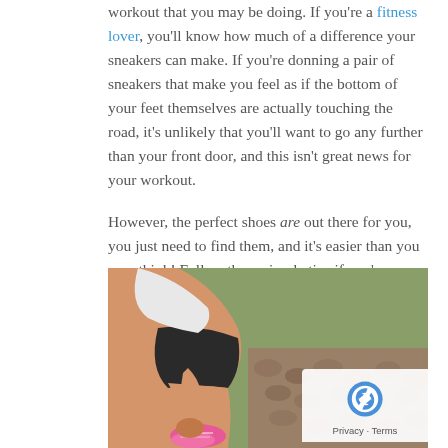workout that you may be doing. If you're a fitness lover, you'll know how much of a difference your sneakers can make. If you're donning a pair of sneakers that make you feel as if the bottom of your feet themselves are actually touching the road, it's unlikely that you'll want to go any further than your front door, and this isn't great news for your workout.

However, the perfect shoes are out there for you, you just need to find them, and it's easier than you may think! Follow these simple tips if you're interested.
[Figure (photo): A person crouching down tying pink sneakers on a cobblestone/brick surface, wearing black shorts and a white top. Outdoor setting with green vegetation in background.]